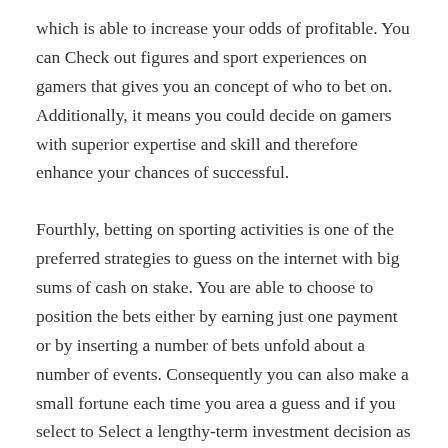which is able to increase your odds of profitable. You can Check out figures and sport experiences on gamers that gives you an concept of who to bet on. Additionally, it means you could decide on gamers with superior expertise and skill and therefore enhance your chances of successful.
Fourthly, betting on sporting activities is one of the preferred strategies to guess on the internet with big sums of cash on stake. You are able to choose to position the bets either by earning just one payment or by inserting a number of bets unfold about a number of events. Consequently you can also make a small fortune each time you area a guess and if you select to Select a lengthy-term investment decision as part of your betting activity you may Construct